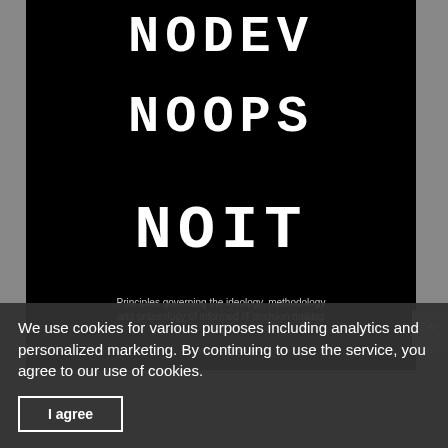[Figure (illustration): Book cover with black background showing digital/LCD-style text: NODEV, NOOPS, NOIT in large white monospace font, with subtitle text about IT decision making and copyright notice below]
We use cookies for various purposes including analytics and personalized marketing. By continuing to use the service, you agree to our use of cookies.
I agree